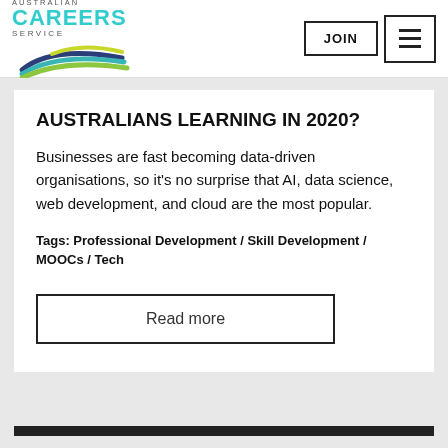[Figure (logo): Australian Careers Service logo with swoosh graphic in green, teal, and dark blue]
AUSTRALIANS LEARNING IN 2020?
Businesses are fast becoming data-driven organisations, so it's no surprise that AI, data science, web development, and cloud are the most popular.
Tags: Professional Development / Skill Development / MOOCs / Tech
Read more